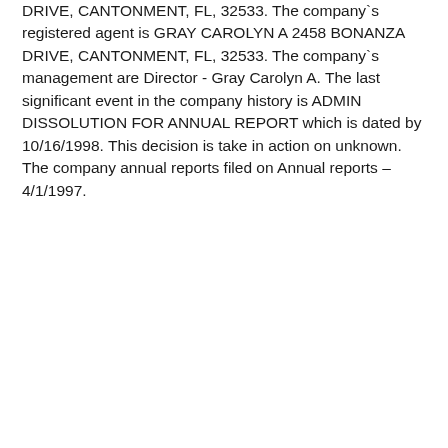DRIVE, CANTONMENT, FL, 32533. The company`s registered agent is GRAY CAROLYN A 2458 BONANZA DRIVE, CANTONMENT, FL, 32533. The company`s management are Director - Gray Carolyn A. The last significant event in the company history is ADMIN DISSOLUTION FOR ANNUAL REPORT which is dated by 10/16/1998. This decision is take in action on unknown. The company annual reports filed on Annual reports – 4/1/1997.